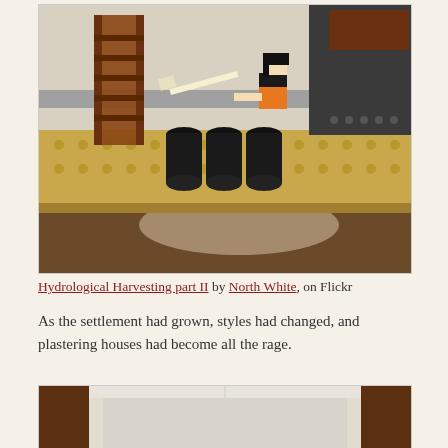[Figure (photo): A LEGO scene showing a minifigure with black hair and orange top holding a white spatula/paddle, standing near black barrels and a brown ladder on a tan LEGO baseplate, with a dark surface in the foreground.]
Hydrological Harvesting part II by North White, on Flickr
As the settlement had grown, styles had changed, and plastering houses had become all the rage.
[Figure (photo): A partial LEGO scene showing white/light gray walls forming a rectangular structure, with brown/dark elements visible on the sides.]